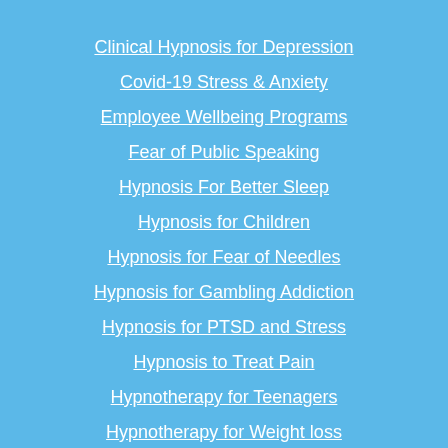Clinical Hypnosis for Depression
Covid-19 Stress & Anxiety
Employee Wellbeing Programs
Fear of Public Speaking
Hypnosis For Better Sleep
Hypnosis for Children
Hypnosis for Fear of Needles
Hypnosis for Gambling Addiction
Hypnosis for PTSD and Stress
Hypnosis to Treat Pain
Hypnotherapy for Teenagers
Hypnotherapy for Weight loss